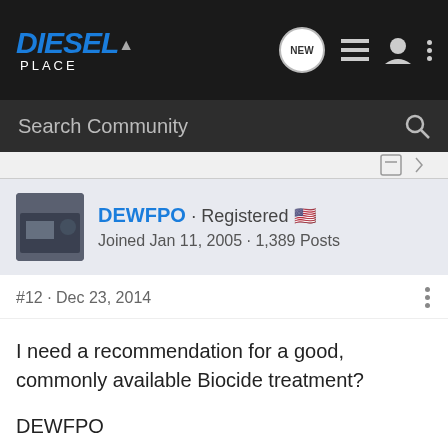[Figure (logo): Diesel Place logo with navigation icons including NEW chat bubble, list icon, user icon, and more icon]
[Figure (screenshot): Search Community input bar with magnifying glass icon]
DEWFPO · Registered 🇺🇸
Joined Jan 11, 2005 · 1,389 Posts
#12 · Dec 23, 2014
I need a recommendation for a good, commonly available Biocide treatment?

DEWFPO
2005, Ch
G80, Dua
[Figure (screenshot): Advertisement banner showing www.au-av.com on a starry night background]